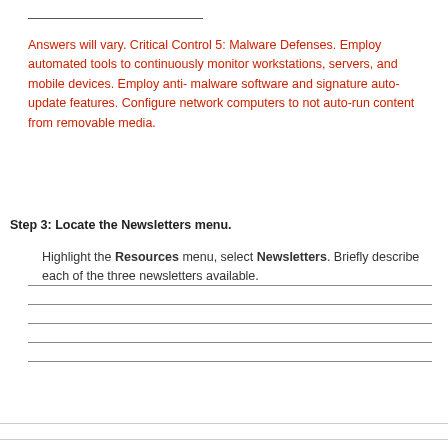Answers will vary. Critical Control 5: Malware Defenses. Employ automated tools to continuously monitor workstations, servers, and mobile devices. Employ anti-malware software and signature auto-update features. Configure network computers to not auto-run content from removable media.
Step 3: Locate the Newsletters menu.
Highlight the Resources menu, select Newsletters. Briefly describe each of the three newsletters available.